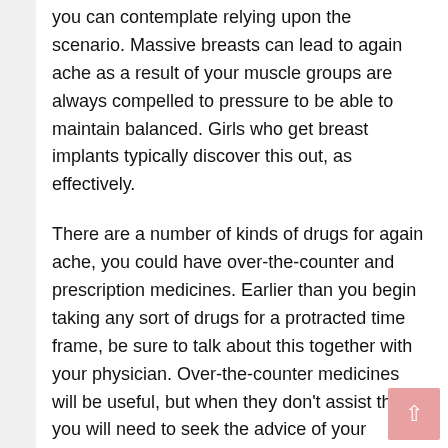you can contemplate relying upon the scenario. Massive breasts can lead to again ache as a result of your muscle groups are always compelled to pressure to be able to maintain balanced. Girls who get breast implants typically discover this out, as effectively.
There are a number of kinds of drugs for again ache, you could have over-the-counter and prescription medicines. Earlier than you begin taking any sort of drugs for a protracted time frame, be sure to talk about this together with your physician. Over-the-counter medicines will be useful, but when they don’t assist then you will need to seek the advice of your physician to get stronger medicines that require a prescription.